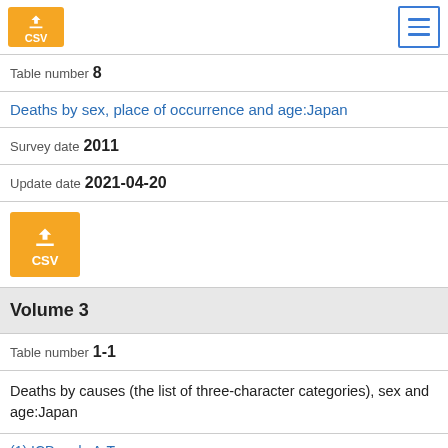[Figure (other): Orange CSV download button with download icon at top left, and a blue menu hamburger button at top right]
Table number 8
Deaths by sex, place of occurrence and age:Japan
Survey date  2011
Update date  2021-04-20
[Figure (other): Orange CSV download button with download icon]
Volume 3
Table number 1-1
Deaths by causes (the list of three-character categories), sex and age:Japan
(1) ICD code A-T